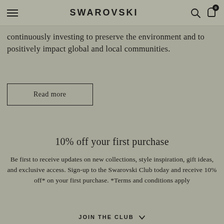SWAROVSKI
continuously investing to preserve the environment and to positively impact global and local communities.
Read more
10% off your first purchase
Be first to receive updates on new collections, style inspiration, gift ideas, and exclusive access. Sign-up to the Swarovski Club today and receive 10% off* on your first purchase. *Terms and conditions apply
JOIN THE CLUB